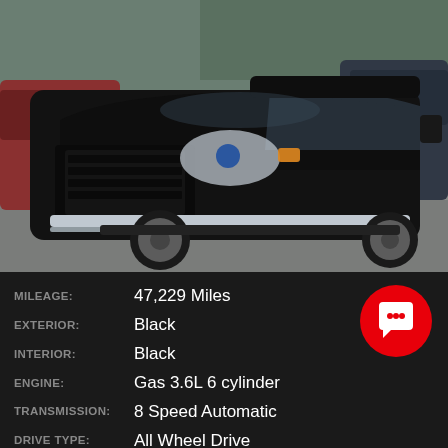[Figure (photo): Black Dodge Durango SUV parked in a dealership lot, front three-quarter view, surrounded by other vehicles]
| Attribute | Value |
| --- | --- |
| MILEAGE: | 47,229 Miles |
| EXTERIOR: | Black |
| INTERIOR: | Black |
| ENGINE: | Gas 3.6L 6 cylinder |
| TRANSMISSION: | 8 Speed Automatic |
| DRIVE TYPE: | All Wheel Drive |